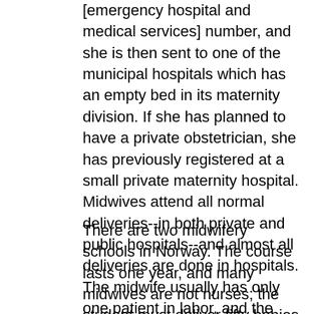[emergency hospital and medical services] number, and she is then sent to one of the municipal hospitals which has an empty bed in its maternity division. If she has planned to have a private obstetrician, she has previously registered at a small private maternity hospital. Midwives attend all normal deliveries--in both private and public hospitals--and almost all deliveries are done in hospitals. The midwife usually has only one patient in labor, and the patients generally do not receive much medication. If medical aid is needed, an obstetrician is always at hand or on call. Of course, in the isolated areas of North Norway, the midwife must carry the whole responsibility herself.
There are two midwifery schools in Norway. The course lasts one year, and many midwives are not nurses; the student must deliver fifty babies before she can graduate. Although at the present time not all midwives are nurses, a new regulation which went into effect last year requiring the student nurse to train first and then